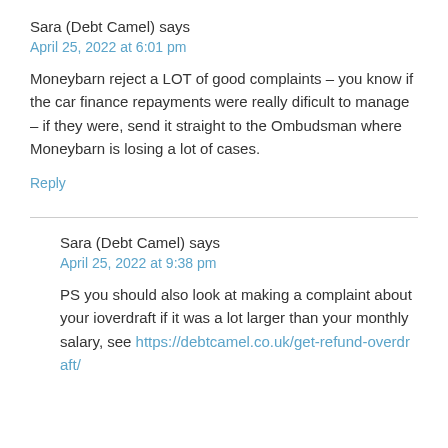Sara (Debt Camel) says
April 25, 2022 at 6:01 pm
Moneybarn reject a LOT of good complaints – you know if the car finance repayments were really dificult to manage – if they were, send it straight to the Ombudsman where Moneybarn is losing a lot of cases.
Reply
Sara (Debt Camel) says
April 25, 2022 at 9:38 pm
PS you should also look at making a complaint about your ioverdraft if it was a lot larger than your monthly salary, see https://debtcamel.co.uk/get-refund-overdraft/